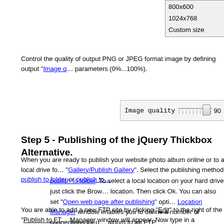[Figure (screenshot): Dropdown list showing resolution options: 800x600, 1024x768, Custom size]
Control the quality of output PNG or JPEG format image by defining output "Image quality" parameters (0%...100%).
[Figure (screenshot): Image quality slider control showing value 90]
Step 5 - Publishing of the jQuery Thickbox Alternative.
When you are ready to publish your website photo album online or to a local drive fo... "Gallery/Publish Gallery". Select the publishing method: publish to folder or publish to...
publish to folder. To select a local location on your hard drive, just click the Brow... location. Then click Ok. You can also set "Open web page after publishing" opti... Location Manager window enables you to define a number of connections for u... album to an FTP.
You are able to add a new FTP site by clicking "Edit" to the right of the "Publish to FT... Manager window will appear. Now type in a meaningful (this is not the actual hostnar...